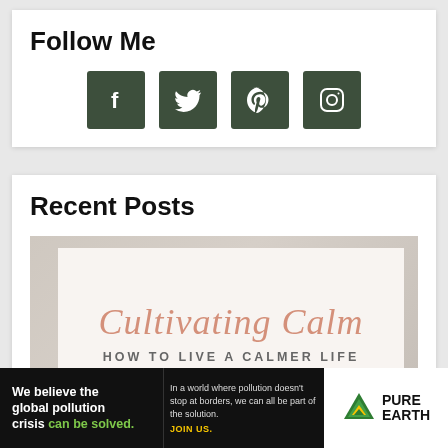Follow Me
[Figure (infographic): Four social media icon buttons in dark green/olive square backgrounds: Facebook (f), Twitter (bird), Pinterest (p), Instagram (camera)]
Recent Posts
[Figure (illustration): Blog post thumbnail image with soft beige/pink background showing text 'Cultivating Calm' in cursive script and 'HOW TO LIVE A CALMER LIFE' in small caps below]
[Figure (infographic): Advertisement banner: 'We believe the global pollution crisis can be solved.' with Pure Earth logo]